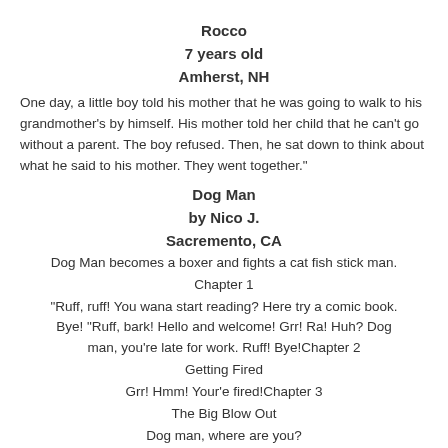Rocco
7 years old
Amherst, NH
One day, a little boy told his mother that he was going to walk to his grandmother’s by himself.  His mother told her child that he can’t go without a parent.  The boy refused.  Then, he sat down to think about what he said to his mother.  They went together.”
Dog Man
by Nico  J.
Sacremento, CA
Dog Man becomes a boxer and fights a cat fish stick man.
Chapter 1
“Ruff, ruff! You wana start reading? Here try a comic book.  Bye! “Ruff, bark! Hello and welcome!  Grr! Ra! Huh? Dog man, you’re late for work. Ruff! Bye!Chapter 2
Getting Fired
Grr!  Hmm! Your’e fired!Chapter 3
The Big Blow Out
Dog man, where are you?
Dog man wins. Dog man, you’re hired.Chapter 4